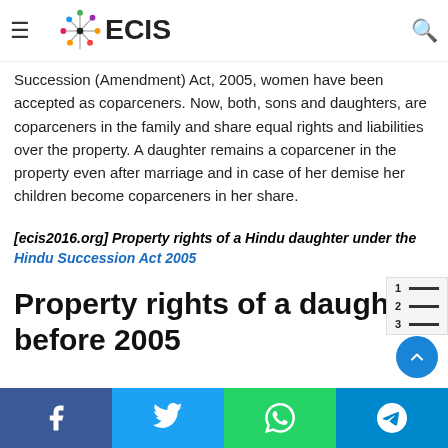ECIS
Succession (Amendment) Act, 2005, women have been accepted as coparceners. Now, both, sons and daughters, are coparceners in the family and share equal rights and liabilities over the property. A daughter remains a coparcener in the property even after marriage and in case of her demise her children become coparceners in her share.
[ecis2016.org] Property rights of a Hindu daughter under the Hindu Succession Act 2005
Property rights of a daughter before 2005